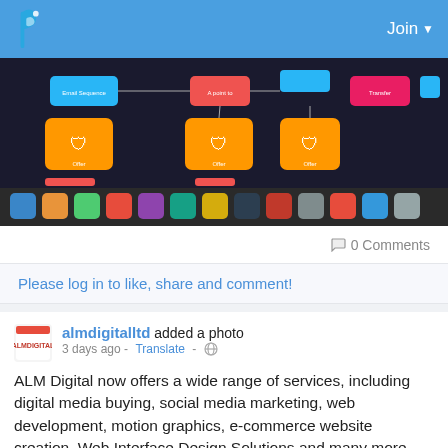Join
[Figure (screenshot): Screenshot of a software workflow/flowchart interface on a Mac desktop, showing colored blocks (orange, pink, blue) connected in a diagram, with Mac Dock visible at bottom]
0 Comments
Please log in to like, share and comment!
almdigitalltd added a photo
3 days ago - Translate -
ALM Digital now offers a wide range of services, including digital media buying, social media marketing, web development, motion graphics, e-commerce website creation, Web Interface Design Solutions and many more. Visit our website: https://almdigital.com/